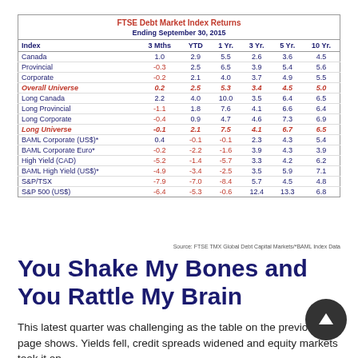| Index | 3 Mths | YTD | 1 Yr. | 3 Yr. | 5 Yr. | 10 Yr. |
| --- | --- | --- | --- | --- | --- | --- |
| Canada | 1.0 | 2.9 | 5.5 | 2.6 | 3.6 | 4.5 |
| Provincial | -0.3 | 2.5 | 6.5 | 3.9 | 5.4 | 5.6 |
| Corporate | -0.2 | 2.1 | 4.0 | 3.7 | 4.9 | 5.5 |
| Overall Universe | 0.2 | 2.5 | 5.3 | 3.4 | 4.5 | 5.0 |
| Long Canada | 2.2 | 4.0 | 10.0 | 3.5 | 6.4 | 6.5 |
| Long Provincial | -1.1 | 1.8 | 7.6 | 4.1 | 6.6 | 6.4 |
| Long Corporate | -0.4 | 0.9 | 4.7 | 4.6 | 7.3 | 6.9 |
| Long Universe | -0.1 | 2.1 | 7.5 | 4.1 | 6.7 | 6.5 |
| BAML Corporate (US$)* | 0.4 | -0.1 | -0.1 | 2.3 | 4.3 | 5.4 |
| BAML Corporate Euro* | -0.2 | -2.2 | -1.6 | 3.9 | 4.3 | 3.9 |
| High Yield (CAD) | -5.2 | -1.4 | -5.7 | 3.3 | 4.2 | 6.2 |
| BAML High Yield (US$)* | -4.9 | -3.4 | -2.5 | 3.5 | 5.9 | 7.1 |
| S&P/TSX | -7.9 | -7.0 | -8.4 | 5.7 | 4.5 | 4.8 |
| S&P 500 (US$) | -6.4 | -5.3 | -0.6 | 12.4 | 13.3 | 6.8 |
Source: FTSE TMX Global Debt Capital Markets/*BAML Index Data
You Shake My Bones and You Rattle My Brain
This latest quarter was challenging as the table on the previous page shows. Yields fell, credit spreads widened and equity markets took it on